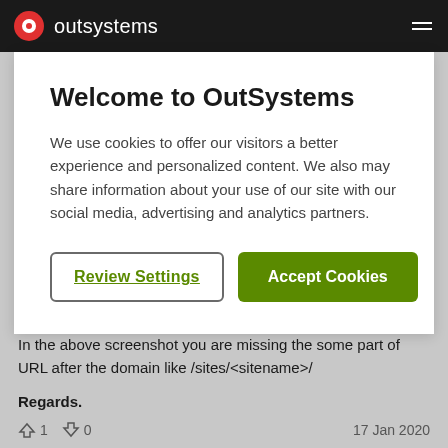[Figure (screenshot): OutSystems website cookie consent modal dialog with 'Welcome to OutSystems' title, descriptive text about cookies, and two buttons: 'Review Settings' and 'Accept Cookies']
In the above screenshot you are missing the some part of URL after the domain like /sites/<sitename>/
Regards.
👍 1   👎 0   17 Jan 2020